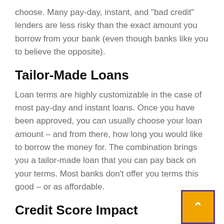choose. Many pay-day, instant, and "bad credit" lenders are less risky than the exact amount you borrow from your bank (even though banks like you to believe the opposite).
Tailor-Made Loans
Loan terms are highly customizable in the case of most pay-day and instant loans. Once you have been approved, you can usually choose your loan amount – and from there, how long you would like to borrow the money for. The combination brings you a tailor-made loan that you can pay back on your terms. Most banks don't offer you terms this good – or as affordable.
Credit Score Impact
Instant and payday loans can positively impact your current credit score when they get paid back. Loan repayment is a plus for your credit score – and most